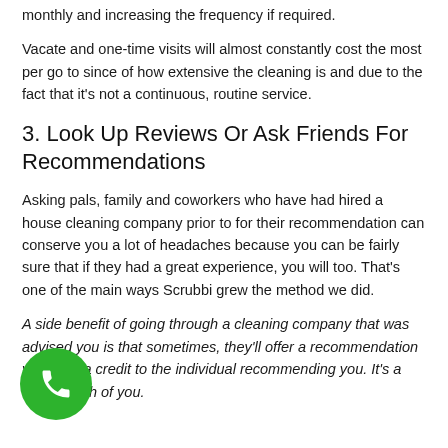monthly and increasing the frequency if required.
Vacate and one-time visits will almost constantly cost the most per go to since of how extensive the cleaning is and due to the fact that it's not a continuous, routine service.
3. Look Up Reviews Or Ask Friends For Recommendations
Asking pals, family and coworkers who have had hired a house cleaning company prior to for their recommendation can conserve you a lot of headaches because you can be fairly sure that if they had a great experience, you will too. That's one of the main ways Scrubbi grew the method we did.
A side benefit of going through a cleaning company that was advised you is that sometimes, they'll offer a recommendation you AND a credit to the individual recommending you. It's a win for both of you.
[Figure (illustration): Green circular phone call button with white telephone handset icon]